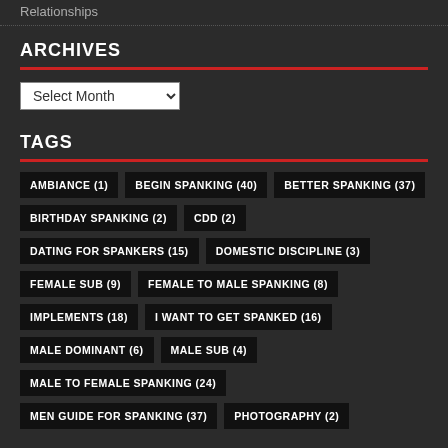Relationships
ARCHIVES
Select Month
TAGS
AMBIANCE (1)
BEGIN SPANKING (40)
BETTER SPANKING (37)
BIRTHDAY SPANKING (2)
CDD (2)
DATING FOR SPANKERS (15)
DOMESTIC DISCIPLINE (3)
FEMALE SUB (9)
FEMALE TO MALE SPANKING (8)
IMPLEMENTS (18)
I WANT TO GET SPANKED (16)
MALE DOMINANT (6)
MALE SUB (4)
MALE TO FEMALE SPANKING (24)
MEN GUIDE FOR SPANKING (37)
PHOTOGRAPHY (2)